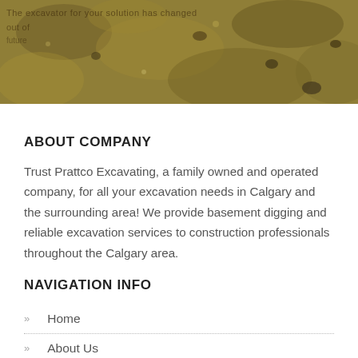[Figure (photo): Close-up photograph of excavated soil/dirt, sandy and rocky texture in golden-brown hues. Faint overlaid text visible mentioning solutions or similar words.]
ABOUT COMPANY
Trust Prattco Excavating, a family owned and operated company, for all your excavation needs in Calgary and the surrounding area! We provide basement digging and reliable excavation services to construction professionals throughout the Calgary area.
NAVIGATION INFO
Home
About Us